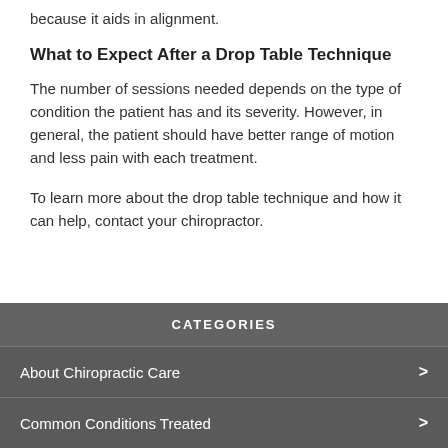because it aids in alignment.
What to Expect After a Drop Table Technique
The number of sessions needed depends on the type of condition the patient has and its severity. However, in general, the patient should have better range of motion and less pain with each treatment.
To learn more about the drop table technique and how it can help, contact your chiropractor.
CATEGORIES
About Chiropractic Care
Common Conditions Treated